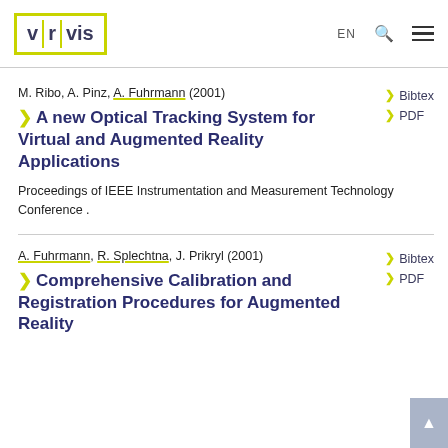VRVis — EN | Search | Menu
M. Ribo, A. Pinz, A. Fuhrmann (2001)
> A new Optical Tracking System for Virtual and Augmented Reality Applications
Proceedings of IEEE Instrumentation and Measurement Technology Conference .
A. Fuhrmann, R. Splechtna, J. Prikryl (2001)
> Comprehensive Calibration and Registration Procedures for Augmented Reality